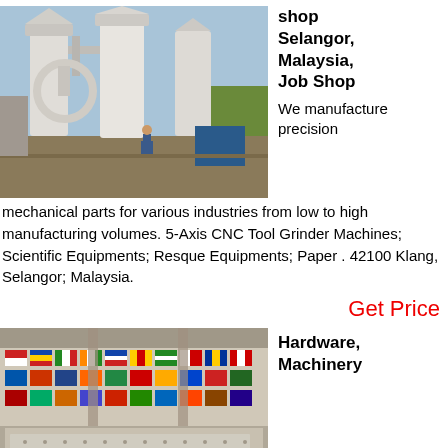[Figure (photo): Industrial machinery with large white cylindrical silos/grinders outdoors, with a worker standing in the background.]
shop Selangor, Malaysia, Job Shop We manufacture precision mechanical parts for various industries from low to high manufacturing volumes. 5-Axis CNC Tool Grinder Machines; Scientific Equipments; Resque Equipments; Paper . 42100 Klang, Selangor; Malaysia.
Get Price
[Figure (photo): International flags displayed in a large indoor hall with industrial machinery in the foreground.]
Hardware, Machinery